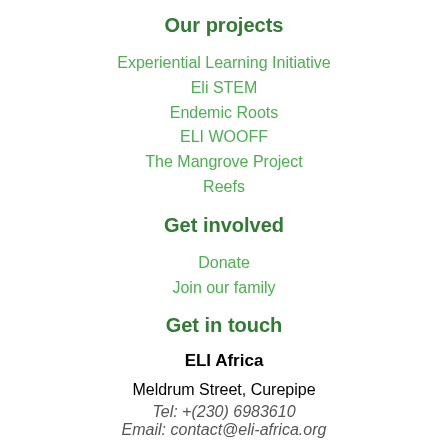Our projects
Experiential Learning Initiative
Eli STEM
Endemic Roots
ELI WOOFF
The Mangrove Project
Reefs
Get involved
Donate
Join our family
Get in touch
ELI Africa
Meldrum Street, Curepipe
Tel: +(230) 6983610
Email: contact@eli-africa.org